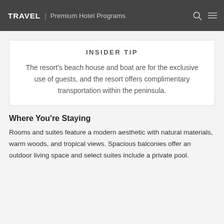TRAVEL | Premium Hotel Programs
INSIDER TIP
The resort's beach house and boat are for the exclusive use of guests, and the resort offers complimentary transportation within the peninsula.
Where You're Staying
Rooms and suites feature a modern aesthetic with natural materials, warm woods, and tropical views. Spacious balconies offer an outdoor living space and select suites include a private pool.